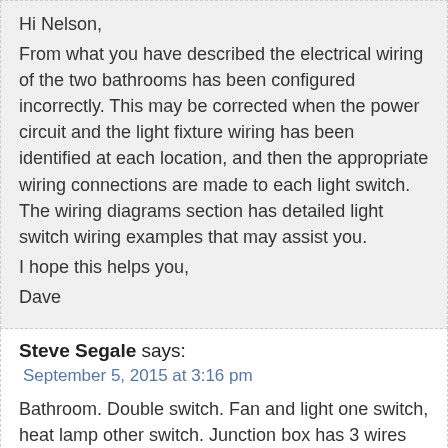Hi Nelson,
From what you have described the electrical wiring of the two bathrooms has been configured incorrectly. This may be corrected when the power circuit and the light fixture wiring has been identified at each location, and then the appropriate wiring connections are made to each light switch. The wiring diagrams section has detailed light switch wiring examples that may assist you.
I hope this helps you,
Dave
Steve Segale says:
September 5, 2015 at 3:16 pm

Bathroom. Double switch. Fan and light one switch, heat lamp other switch. Junction box has 3 wires one side, 4 wires other side. I changed out the old switch, wired it same way. Now one switch makes fan/light AND heat lamp come on together.
Other switch does nothing.
Is it because. Old switch is the opposite of modern?
Old had one black wire on the top copper screw, nothing on lower screw.
Old had one black on top brass screw, and red wire on lower brass screw.

Instructions with new double switch SEEM to show the